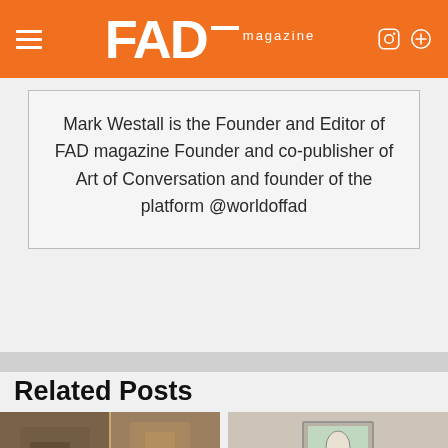FAD magazine
Mark Westall is the Founder and Editor of FAD magazine Founder and co-publisher of Art of Conversation and founder of the platform @worldoffad
Related Posts
[Figure (photo): Two thumbnail images of artwork below the Related Posts heading]
[Figure (photo): Blurry painting or collage image on the right side]